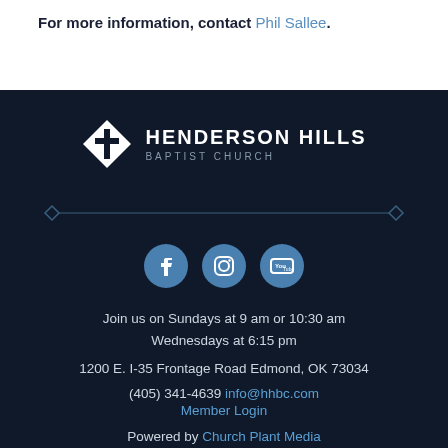For more information, contact Phil Sallee.
[Figure (logo): Henderson Hills Baptist Church logo - white cross inside a white diamond shape, with text HENDERSON HILLS BAPTIST CHURCH]
[Figure (illustration): Decorative horizontal divider line with diamond end pieces in blue]
[Figure (illustration): Social media icons: Facebook, Instagram, YouTube - round blue circles with white icons]
Join us on Sundays at 9 am or 10:30 am
Wednesdays at 6:15 pm
1200 E. I-35 Frontage Road Edmond, OK 73034
(405) 341-4639 info@hhbc.com
Member Login
Powered by Church Plant Media